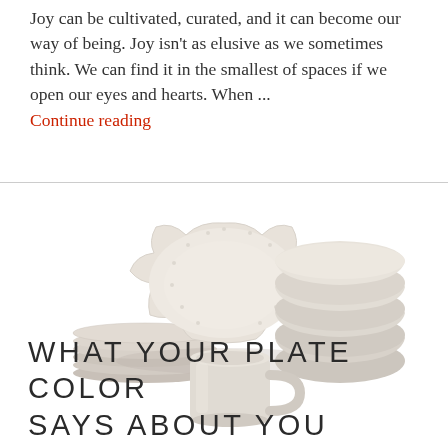Joy can be cultivated, curated, and it can become our way of being. Joy isn't as elusive as we sometimes think. We can find it in the smallest of spaces if we open our eyes and hearts. When ... Continue reading
[Figure (photo): A set of beige/cream ceramic dinnerware including plates stacked on the left, a large scallop-edged dinner plate in the center, stacked bowls on the right, and a mug in the foreground]
WHAT YOUR PLATE COLOR SAYS ABOUT YOU